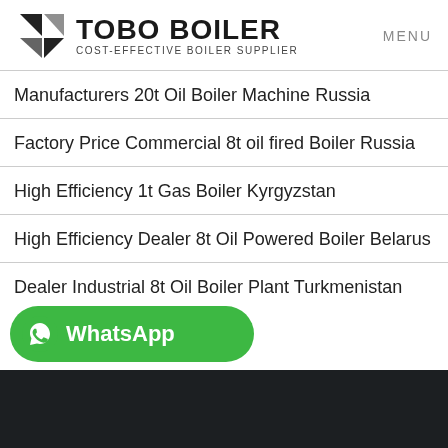TOBO BOILER COST-EFFECTIVE BOILER SUPPLIER | MENU
Manufacturers 20t Oil Boiler Machine Russia
Factory Price Commercial 8t oil fired Boiler Russia
High Efficiency 1t Gas Boiler Kyrgyzstan
High Efficiency Dealer 8t Oil Powered Boiler Belarus
Dealer Industrial 8t Oil Boiler Plant Turkmenistan
Industrial Factory Price 1 Ton Coal Boiler
[Figure (logo): WhatsApp contact button with green rounded rectangle and phone icon]